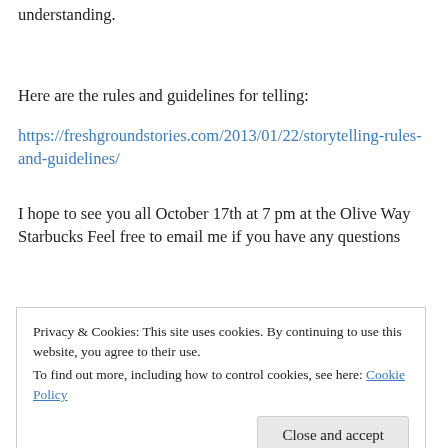understanding.
Here are the rules and guidelines for telling:
https://freshgroundstories.com/2013/01/22/storytelling-rules-and-guidelines/
I hope to see you all October 17th at 7 pm at the Olive Way Starbucks Feel free to email me if you have any questions
Privacy & Cookies: This site uses cookies. By continuing to use this website, you agree to their use.
To find out more, including how to control cookies, see here: Cookie Policy